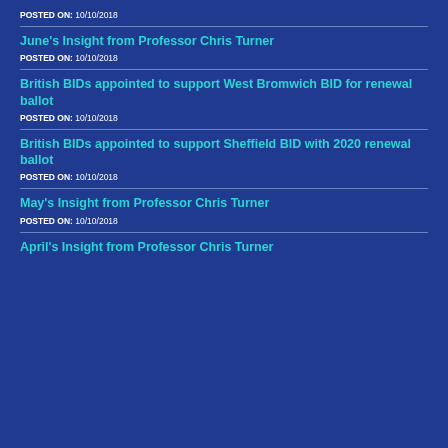POSTED ON: 10/10/2018
June's Insight from Professor Chris Turner
POSTED ON: 10/10/2018
British BIDs appointed to support West Bromwich BID for renewal ballot
POSTED ON: 10/10/2018
British BIDs appointed to support Sheffield BID with 2020 renewal ballot
POSTED ON: 10/10/2018
May's Insight from Professor Chris Turner
POSTED ON: 10/10/2018
April's Insight from Professor Chris Turner